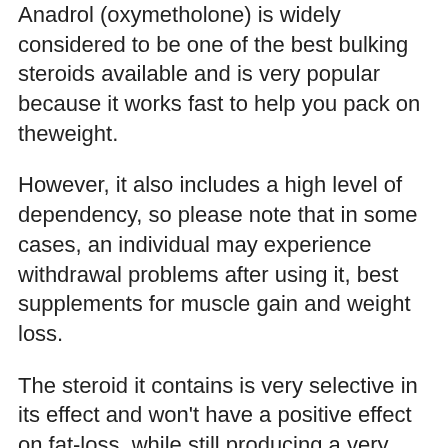Anadrol (oxymetholone) is widely considered to be one of the best bulking steroids available and is very popular because it works fast to help you pack on theweight.
However, it also includes a high level of dependency, so please note that in some cases, an individual may experience withdrawal problems after using it, best supplements for muscle gain and weight loss.
The steroid it contains is very selective in its effect and won't have a positive effect on fat-loss, while still producing a very pleasant feeling, best supplements for muscle growth after 40. It's important to note though that some people get extremely weak from it during the "high", best supplements for muscle gain fast.
In that case, an anti-depressant may be